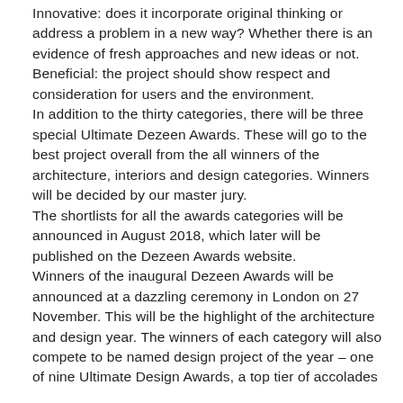Innovative: does it incorporate original thinking or address a problem in a new way? Whether there is an evidence of fresh approaches and new ideas or not. Beneficial: the project should show respect and consideration for users and the environment.
In addition to the thirty categories, there will be three special Ultimate Dezeen Awards. These will go to the best project overall from the all winners of the architecture, interiors and design categories. Winners will be decided by our master jury.
The shortlists for all the awards categories will be announced in August 2018, which later will be published on the Dezeen Awards website.
Winners of the inaugural Dezeen Awards will be announced at a dazzling ceremony in London on 27 November. This will be the highlight of the architecture and design year. The winners of each category will also compete to be named design project of the year – one of nine Ultimate Design Awards, a top tier of accolades